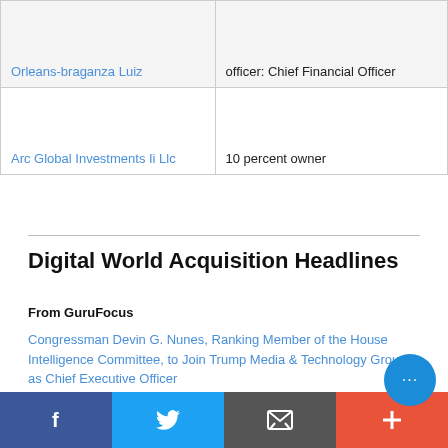| Name | Role |
| --- | --- |
| Orleans-braganza Luiz | officer: Chief Financial Officer |
| Arc Global Investments Ii Llc | 10 percent owner |
Digital World Acquisition Headlines
From GuruFocus
Congressman Devin G. Nunes, Ranking Member of the House Intelligence Committee, to Join Trump Media & Technology Group as Chief Executive Officer
By GlobeNewswire 12-06-2021
Trump Media & Technology Group Announces Partnersh...
Facebook | Twitter | Email | Plus